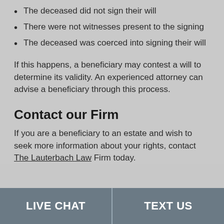The deceased did not sign their will
There were not witnesses present to the signing
The deceased was coerced into signing their will
If this happens, a beneficiary may contest a will to determine its validity. An experienced attorney can advise a beneficiary through this process.
Contact our Firm
If you are a beneficiary to an estate and wish to seek more information about your rights, contact The Lauterbach Law Firm today.
LIVE CHAT   TEXT US